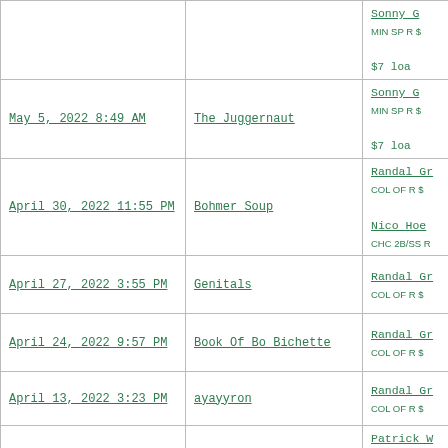| Date | Team Name | Details |
| --- | --- | --- |
|  |  | Sonny G
MIN SP R $
$7 loa |
| May 5, 2022 8:49 AM | The Juggernaut | Sonny G
MIN SP R $
$7 loa |
| April 30, 2022 11:55 PM | Bohmer Soup | Randal Gr
COL OF R $
Nico Hoe
CHC 2B/SS R |
| April 27, 2022 3:55 PM | Genitals | Randal Gr
COL OF R $ |
| April 24, 2022 9:57 PM | Book Of Bo Bichette | Randal Gr
COL OF R $ |
| April 13, 2022 3:23 PM | ayayyron | Randal Gr
COL OF R $ |
| April 7, 2022 12:22 PM | Ya Like Jazz? | Patrick W
CHC 1B/3B/OF
Oswald |